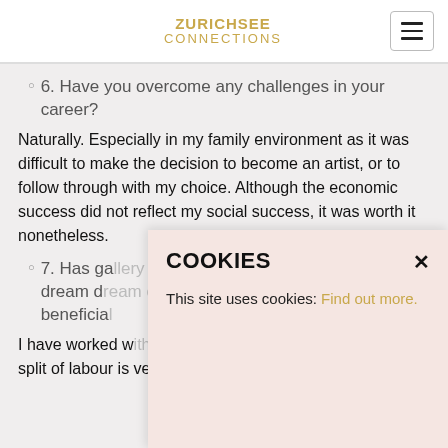ZURICHSEE CONNECTIONS
6. Have you overcome any challenges in your career?
Naturally. Especially in my family environment as it was difficult to make the decision to become an artist, or to follow through with my choice. Although the economic success did not reflect my social success, it was worth it nonetheless.
7. Has ga... dream d... beneficia...
I have worked w... split of labour is very useful for both sides. Gallery
COOKIES
This site uses cookies: Find out more.